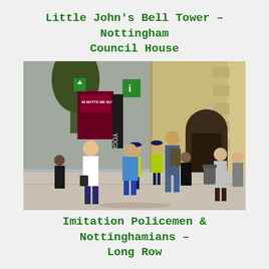Little John's Bell Tower – Nottingham Council House
[Figure (photo): Street scene on Long Row, Nottingham, showing pedestrians including two police community support officers in high-visibility jackets, shoppers with backpacks, an elderly man, and buildings including the Nottingham Council House in the background.]
Imitation Policemen & Nottinghamians – Long Row